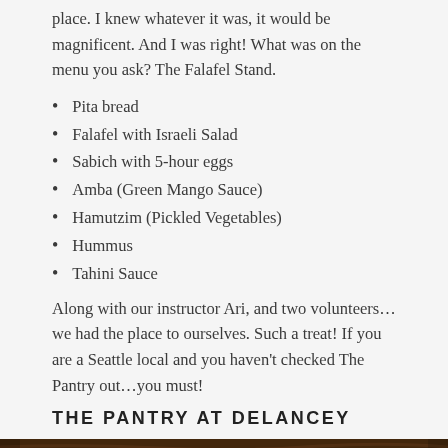place. I knew whatever it was, it would be magnificent. And I was right! What was on the menu you ask? The Falafel Stand.
Pita bread
Falafel with Israeli Salad
Sabich with 5-hour eggs
Amba (Green Mango Sauce)
Hamutzim (Pickled Vegetables)
Hummus
Tahini Sauce
Along with our instructor Ari, and two volunteers…we had the place to ourselves. Such a treat! If you are a Seattle local and you haven't checked The Pantry out…you must!
THE PANTRY AT DELANCEY
[Figure (photo): Photograph of a wooden table surface with dark wood grain, and a white piece of paper or card partially visible at the bottom.]